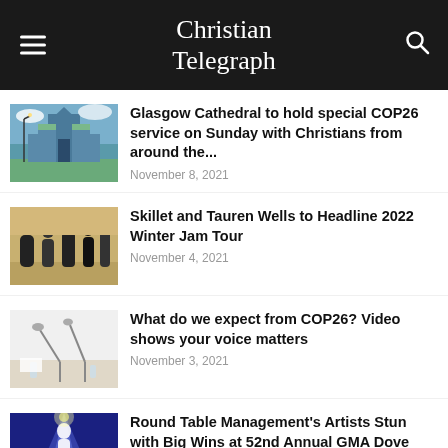Christian Telegraph
Glasgow Cathedral to hold special COP26 service on Sunday with Christians from around the...
November 8, 2021
Skillet and Tauren Wells to Headline 2022 Winter Jam Tour
November 4, 2021
What do we expect from COP26? Video shows your voice matters
November 3, 2021
Round Table Management's Artists Stun with Big Wins at 52nd Annual GMA Dove Awards
October 28, 2021